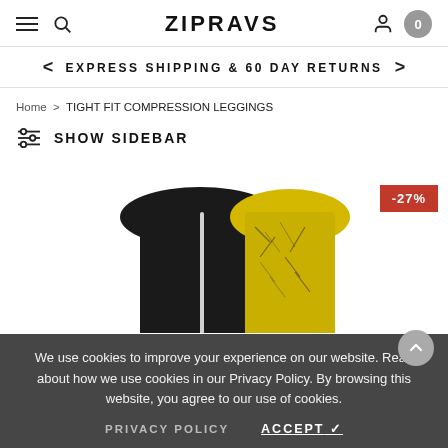ZIPRAVS
EXPRESS SHIPPING & 60 DAY RETURNS
Home > TIGHT FIT COMPRESSION LEGGINGS
SHOW SIDEBAR
[Figure (photo): Product photo showing black and yellow patterned compression leggings with a -27% discount badge]
We use cookies to improve your experience on our website. Read about how we use cookies in our Privacy Policy. By browsing this website, you agree to our use of cookies.
PRIVACY POLICY  ACCEPT ✓